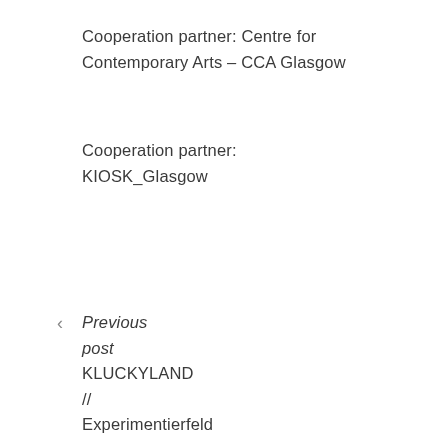Cooperation partner: Centre for Contemporary Arts – CCA Glasgow
Cooperation partner: KIOSK_Glasgow
Previous post KLUCKYLAND // Experimentierfeld